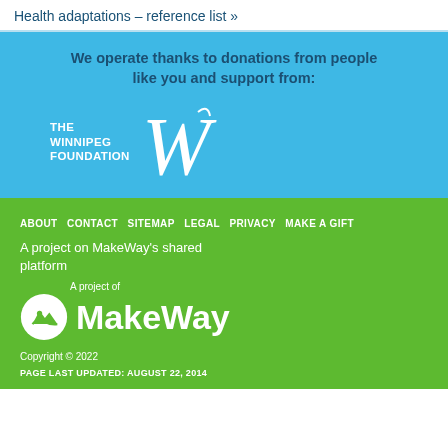Health adaptations – reference list »
We operate thanks to donations from people like you and support from:
[Figure (logo): The Winnipeg Foundation logo with stylized W]
ABOUT  CONTACT  SITEMAP  LEGAL  PRIVACY  MAKE A GIFT
A project on MakeWay's shared platform
[Figure (logo): MakeWay logo — A project of MakeWay with mountain/river icon]
Copyright © 2022
PAGE LAST UPDATED: AUGUST 22, 2014